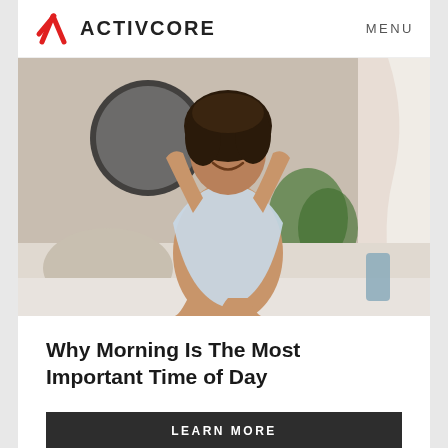ACTIVCORE   MENU
[Figure (photo): A young woman with curly hair sitting on a bed, smiling and stretching her arms above her head, wearing a light blue sleeveless top. Bedroom background with a round mirror, plants, and bright natural light from a window.]
Why Morning Is The Most Important Time of Day
LEARN MORE